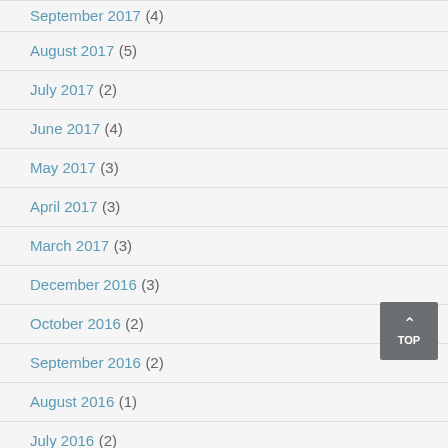September 2017 (4)
August 2017 (5)
July 2017 (2)
June 2017 (4)
May 2017 (3)
April 2017 (3)
March 2017 (3)
December 2016 (3)
October 2016 (2)
September 2016 (2)
August 2016 (1)
July 2016 (2)
June 2016 (1)